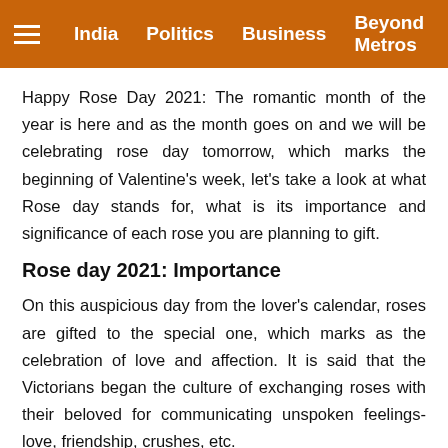India  Politics  Business  Beyond Metros
Happy Rose Day 2021: The romantic month of the year is here and as the month goes on and we will be celebrating rose day tomorrow, which marks the beginning of Valentine's week, let's take a look at what Rose day stands for, what is its importance and significance of each rose you are planning to gift.
Rose day 2021: Importance
On this auspicious day from the lover's calendar, roses are gifted to the special one, which marks as the celebration of love and affection. It is said that the Victorians began the culture of exchanging roses with their beloved for communicating unspoken feelings- love, friendship, crushes, etc.